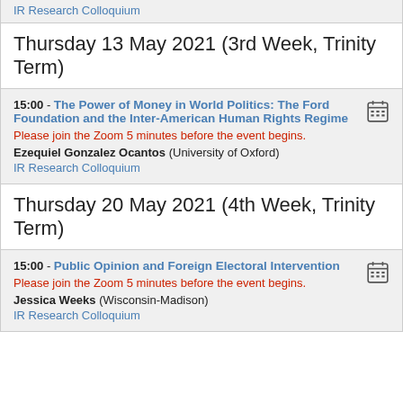IR Research Colloquium
Thursday 13 May 2021 (3rd Week, Trinity Term)
15:00 - The Power of Money in World Politics: The Ford Foundation and the Inter-American Human Rights Regime
Please join the Zoom 5 minutes before the event begins.
Ezequiel Gonzalez Ocantos (University of Oxford)
IR Research Colloquium
Thursday 20 May 2021 (4th Week, Trinity Term)
15:00 - Public Opinion and Foreign Electoral Intervention
Please join the Zoom 5 minutes before the event begins.
Jessica Weeks (Wisconsin-Madison)
IR Research Colloquium